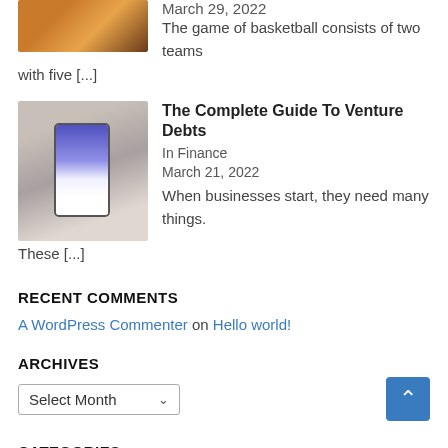[Figure (photo): Basketball game photo thumbnail, partially visible at top]
March 29, 2022
The game of basketball consists of two teams with five [...]
[Figure (photo): Phone showing finance app with chart, on table background]
The Complete Guide To Venture Debts
In Finance
March 21, 2022
When businesses start, they need many things. These [...]
RECENT COMMENTS
A WordPress Commenter on Hello world!
ARCHIVES
Select Month
CATEGORIES